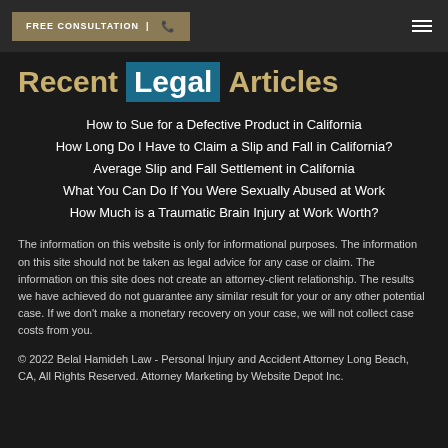FREE CONSULTATION | [phone icon]
Recent Legal Articles
How to Sue for a Defective Product in California
How Long Do I Have to Claim a Slip and Fall in California?
Average Slip and Fall Settlement in California
What You Can Do If You Were Sexually Abused at Work
How Much is a Traumatic Brain Injury at Work Worth?
The information on this website is only for informational purposes. The information on this site should not be taken as legal advice for any case or claim. The information on this site does not create an attorney-client relationship. The results we have achieved do not guarantee any similar result for your or any other potential case. If we don't make a monetary recovery on your case, we will not collect case costs from you.
© 2022 Belal Hamideh Law - Personal Injury and Accident Attorney Long Beach, CA, All Rights Reserved. Attorney Marketing by Website Depot Inc.